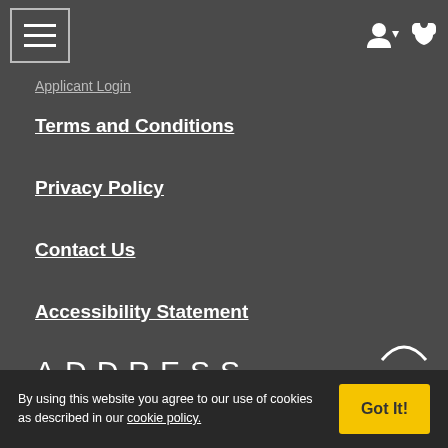Applicant Login
Terms and Conditions
Privacy Policy
Contact Us
Accessibility Statement
ADDRESS
By using this website you agree to our use of cookies as described in our cookie policy.